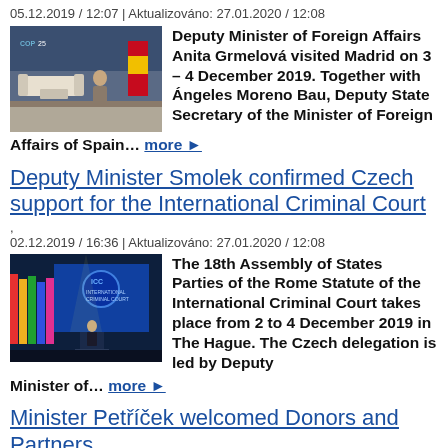05.12.2019 / 12:07 | Aktualizováno: 27.01.2020 / 12:08
[Figure (photo): Photo of Deputy Minister Grmelová at COP25 in Madrid with flags and seating area]
Deputy Minister of Foreign Affairs Anita Grmelová visited Madrid on 3 – 4 December 2019. Together with Ángeles Moreno Bau, Deputy State Secretary of the Minister of Foreign Affairs of Spain… more ►
Deputy Minister Smolek confirmed Czech support for the International Criminal Court
02.12.2019 / 16:36 | Aktualizováno: 27.01.2020 / 12:08
[Figure (photo): Photo of the 18th Assembly of States Parties event, conference hall with ICC logo and colorful decorations]
The 18th Assembly of States Parties of the Rome Statute of the International Criminal Court takes place from 2 to 4 December 2019 in The Hague. The Czech delegation is led by Deputy Minister of… more ►
Minister Petříček welcomed Donors and Partners